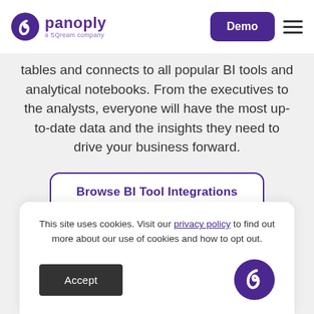panoply – a SQream company | Demo
tables and connects to all popular BI tools and analytical notebooks. From the executives to the analysts, everyone will have the most up-to-date data and the insights they need to drive your business forward.
Browse BI Tool Integrations
This site uses cookies. Visit our privacy policy to find out more about our use of cookies and how to opt out.
Accept